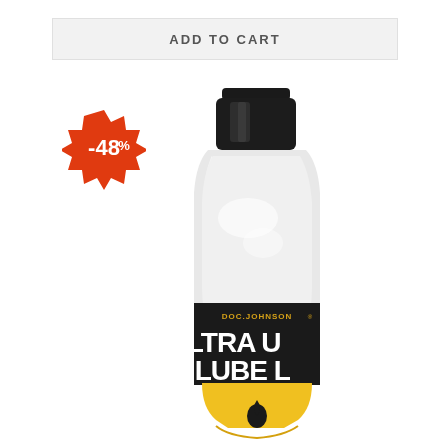ADD TO CART
[Figure (photo): Doc Johnson Ultra Lube lubricant bottle with black cap, clear bottle body showing white gel contents, black label with yellow and white text reading ULTRA LUBE, yellow bottom portion with oil drop icon]
[Figure (infographic): Red starburst/badge shape with white text showing -48%]